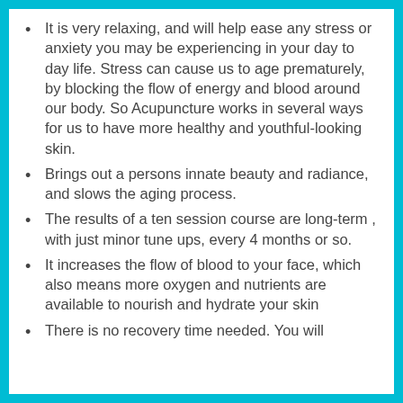It is very relaxing, and will help ease any stress or anxiety you may be experiencing in your day to day life. Stress can cause us to age prematurely, by blocking the flow of energy and blood around our body. So Acupuncture works in several ways for us to have more healthy and youthful-looking skin.
Brings out a persons innate beauty and radiance, and slows the aging process.
The results of a ten session course are long-term , with just minor tune ups, every 4 months or so.
It increases the flow of blood to your face, which also means more oxygen and nutrients are available to nourish and hydrate your skin
There is no recovery time needed. You will